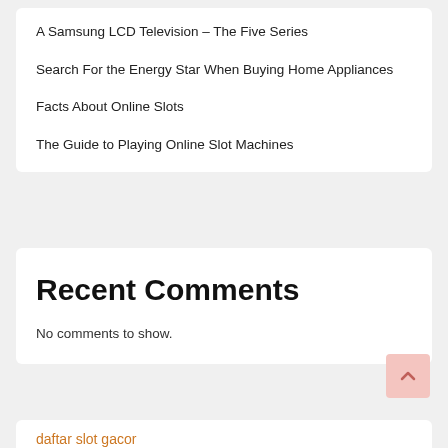A Samsung LCD Television – The Five Series
Search For the Energy Star When Buying Home Appliances
Facts About Online Slots
The Guide to Playing Online Slot Machines
Recent Comments
No comments to show.
daftar slot gacor